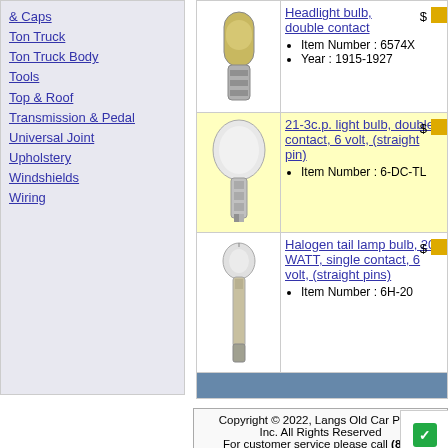& Caps
Ton Truck
Ton Truck Body
Tools
Top & Roof
Transmission & Pedal
Universal Joint
Upholstery
Windshields
Wiring
[Figure (photo): Light bulb with double contact base, cylindrical metallic socket]
Headlight bulb, double contact
Item Number: 6574X
Year: 1915-1927
[Figure (photo): 21-3c.p. light bulb, double contact, 6 volt, straight pin]
21-3c.p. light bulb, double contact, 6 volt, (straight pin)
Item Number: 6-DC-TL
[Figure (photo): Halogen tail lamp bulb, 20 WATT, single contact, 6 volt, straight pins]
Halogen tail lamp bulb, 20 WATT, single contact, 6 volt, (straight pins)
Item Number: 6H-20
Copyright © 2022, Langs Old Car Parts, Inc. All Rights Reserved
For customer service please call (800) 872-7871. or 978-939-5500
Home Page - Contact Us - Privacy Policy -